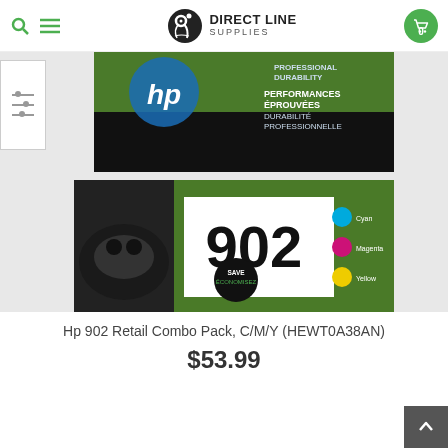Direct Line Supplies
[Figure (photo): HP 902 Retail Combo Pack C/M/Y ink cartridge product box showing cyan, magenta, and yellow cartridges labeled '902' on a green and black box with HP logo]
Hp 902 Retail Combo Pack, C/M/Y (HEWT0A38AN)
$53.99